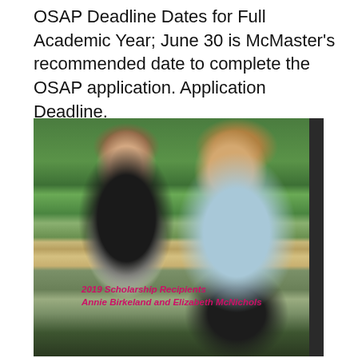OSAP Deadline Dates for Full Academic Year; June 30 is McMaster's recommended date to complete the OSAP application. Application Deadline.
[Figure (photo): Photo of two young women smiling, standing in front of green foliage. Left woman wears glasses, a black jacket and white shirt. Right woman wears a light blue top. An overlay text reads: 2019 Scholarship Recipients Annie Birkeland and Elizabeth McNichols.]